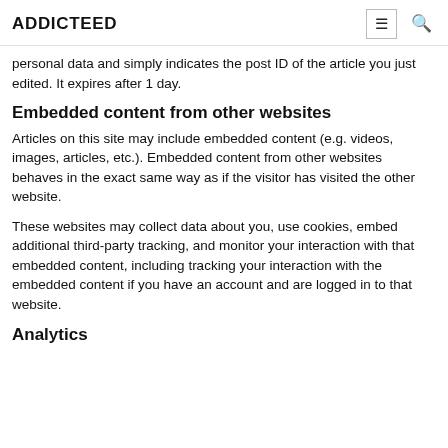ADDICTEED
personal data and simply indicates the post ID of the article you just edited. It expires after 1 day.
Embedded content from other websites
Articles on this site may include embedded content (e.g. videos, images, articles, etc.). Embedded content from other websites behaves in the exact same way as if the visitor has visited the other website.
These websites may collect data about you, use cookies, embed additional third-party tracking, and monitor your interaction with that embedded content, including tracking your interaction with the embedded content if you have an account and are logged in to that website.
Analytics